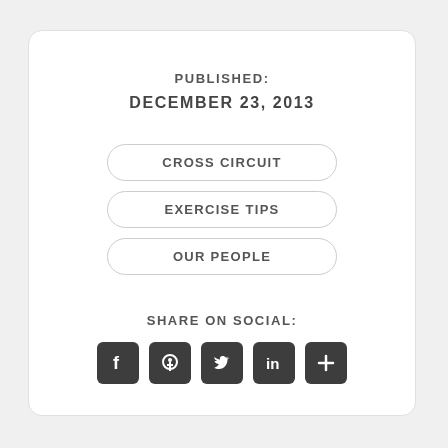PUBLISHED:
DECEMBER 23, 2013
CROSS CIRCUIT
EXERCISE TIPS
OUR PEOPLE
SHARE ON SOCIAL:
[Figure (infographic): Social sharing icons: Facebook, Pinterest, Twitter, LinkedIn, and a plus/more button, each in a dark rounded square]